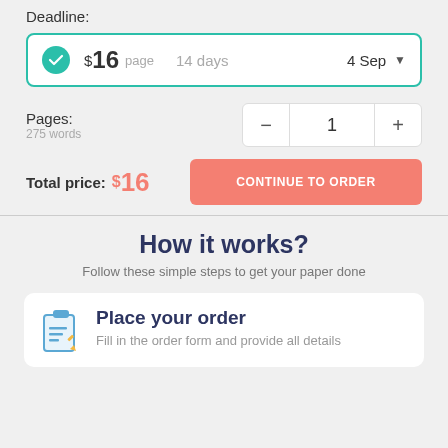Deadline:
$16 page  14 days  4 Sep
Pages:
275 words
1
Total price: $16
CONTINUE TO ORDER
How it works?
Follow these simple steps to get your paper done
Place your order
Fill in the order form and provide all details